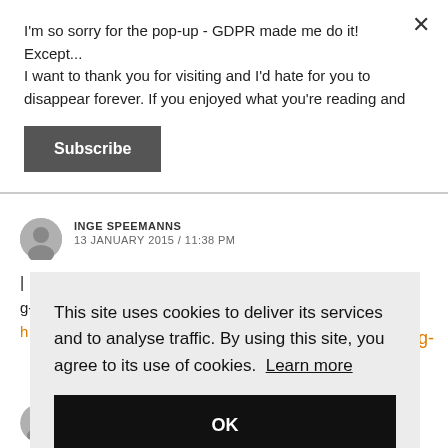I'm so sorry for the pop-up - GDPR made me do it! Except... I want to thank you for visiting and I'd hate for you to disappear forever. If you enjoyed what you're reading and
Subscribe
INGE SPEEMANNS
13 JANUARY 2015 / 11:38 PM
This site uses cookies to deliver its services and to analyse traffic. By using this site, you agree to its use of cookies. Learn more
OK
GILLAO1